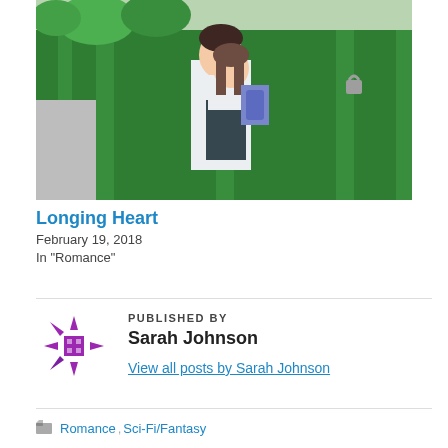[Figure (photo): A young man carrying a girl in a school uniform near a green metal fence with trees in the background.]
Longing Heart
February 19, 2018
In "Romance"
PUBLISHED BY
Sarah Johnson
View all posts by Sarah Johnson
Romance, Sci-Fi/Fantasy